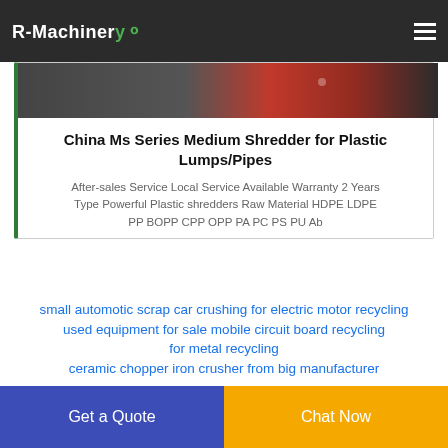R-Machinery
[Figure (photo): Product image of a red and dark industrial shredder machine]
China Ms Series Medium Shredder for Plastic Lumps/Pipes
After-sales Service Local Service Available Warranty 2 Years Type Powerful Plastic shredders Raw Material HDPE LDPE PP BOPP CPP OPP PA PC PS PU Ab
small automotic scrap car crushing for electric motor recycling
used equipment for sale mobile circuit board recycling for metal recycling
ceramic chopper iron crusher from big manufacturer